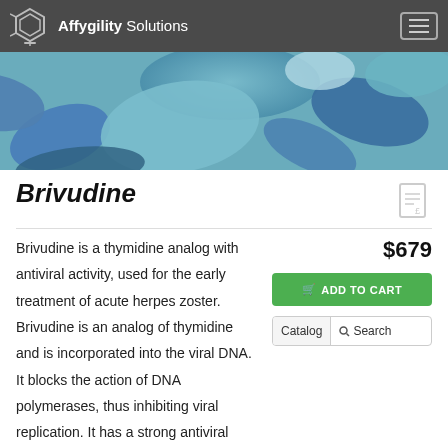Affygility Solutions
[Figure (photo): Close-up photo of blue and teal pharmaceutical tablets and capsules]
Brivudine
Brivudine is a thymidine analog with antiviral activity, used for the early treatment of acute herpes zoster. Brivudine is an analog of thymidine and is incorporated into the viral DNA. It blocks the action of DNA polymerases, thus inhibiting viral replication. It has a strong antiviral effect against the varicella-zoster virus. In vitro, brivudine has
$679
ADD TO CART
Catalog  Search
Chat with an in-house expert